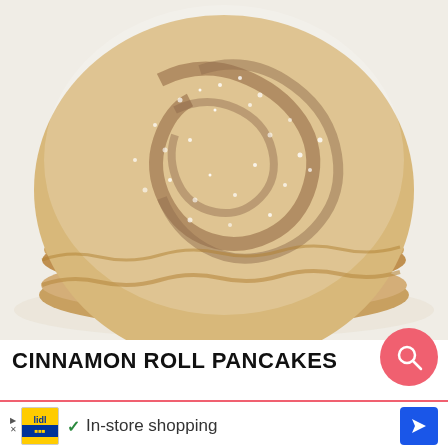[Figure (photo): Close-up photo of a stack of cinnamon roll pancakes dusted with powdered sugar, showing swirled cinnamon patterns on top, stacked on a white plate, photographed from above at a slight angle.]
CINNAMON ROLL PANCAKES
In-store shopping